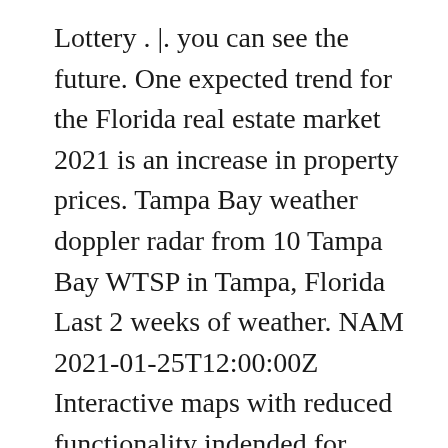Lottery . |. you can see the future. One expected trend for the Florida real estate market 2021 is an increase in property prices. Tampa Bay weather doppler radar from 10 Tampa Bay WTSP in Tampa, Florida Last 2 weeks of weather. NAM 2021-01-25T12:00:00Z Interactive maps with reduced functionality indended for mobile devices and tablets. The Rapid Refresh model is run hourly and is useful for short term forecasting. MyForecast provides Stuart, FL current conditions, detailed, hourly, 15 day extended forecasts, ski reports, marine forecasts and surf alerts, airport delay forecasts, fire danger outlooks, Doppler and satellite images, and thousands of maps. Weather Underground's WunderMap